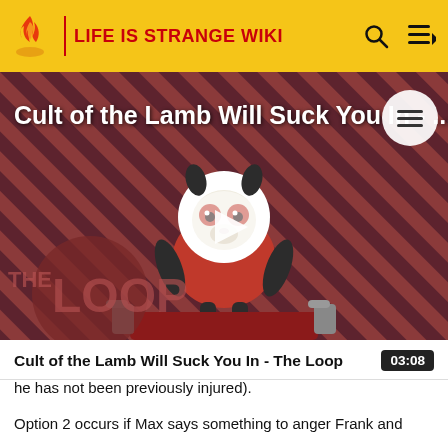LIFE IS STRANGE WIKI
[Figure (screenshot): Video thumbnail for 'Cult of the Lamb Will Suck You In - The Loop' showing a cartoon lamb character on a red background with diagonal black stripes, a play button overlay, and THE LOOP logo at the bottom left.]
Cult of the Lamb Will Suck You In - The Loop
he has not been previously injured).
Option 2 occurs if Max says something to anger Frank and